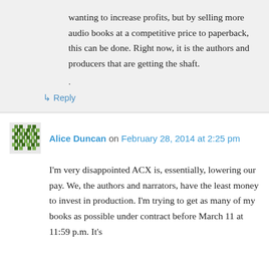wanting to increase profits, but by selling more audio books at a competitive price to paperback, this can be done. Right now, it is the authors and producers that are getting the shaft.
.
↳ Reply
Alice Duncan on February 28, 2014 at 2:25 pm
I'm very disappointed ACX is, essentially, lowering our pay. We, the authors and narrators, have the least money to invest in production. I'm trying to get as many of my books as possible under contract before March 11 at 11:59 p.m. It's